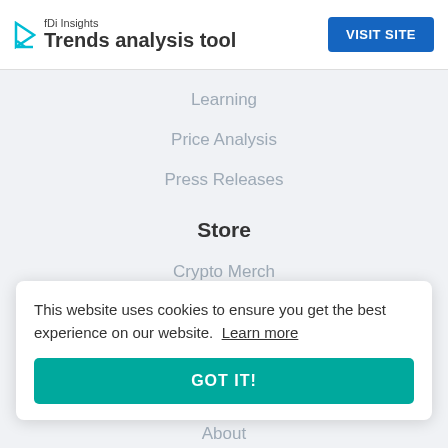[Figure (screenshot): Advertisement banner for fDi Insights Trends analysis tool with a blue VISIT SITE button]
Learning
Price Analysis
Press Releases
Store
Crypto Merch
Women's Clothing
Men's Clothing
Accessories
This website uses cookies to ensure you get the best experience on our website. Learn more
GOT IT!
About